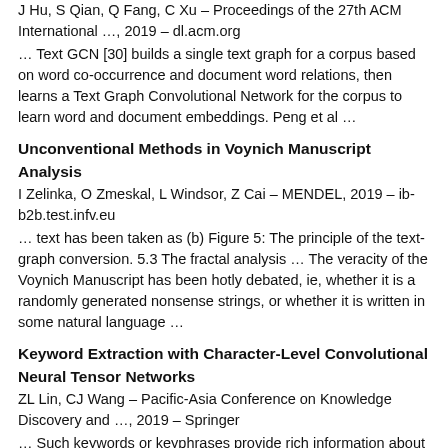J Hu, S Qian, Q Fang, C Xu – Proceedings of the 27th ACM International …, 2019 – dl.acm.org
… Text GCN [30] builds a single text graph for a corpus based on word co-occurrence and document word relations, then learns a Text Graph Convolutional Network for the corpus to learn word and document embeddings. Peng et al …
Unconventional Methods in Voynich Manuscript Analysis
I Zelinka, O Zmeskal, L Windsor, Z Cai – MENDEL, 2019 – ib-b2b.test.infv.eu
… text has been taken as (b) Figure 5: The principle of the text-graph conversion. 5.3 The fractal analysis … The veracity of the Voynich Manuscript has been hotly debated, ie, whether it is a randomly generated nonsense strings, or whether it is written in some natural language …
Keyword Extraction with Character-Level Convolutional Neural Tensor Networks
ZL Lin, CJ Wang – Pacific-Asia Conference on Knowledge Discovery and …, 2019 – Springer
… Such keywords or keyphrases provide rich information about the content and help improve the performance of natural language processing (NLP) and … We apply TextRank to a directed, weighted text graph, and use co-occurrence links to